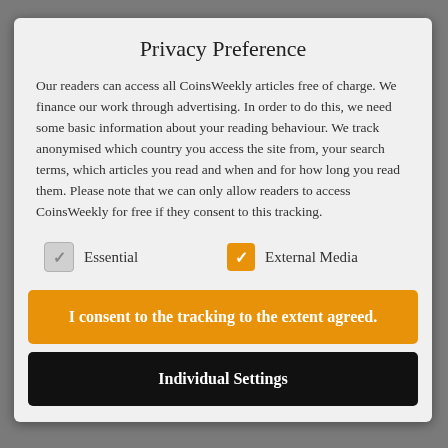Privacy Preference
Our readers can access all CoinsWeekly articles free of charge. We finance our work through advertising. In order to do this, we need some basic information about your reading behaviour. We track anonymised which country you access the site from, your search terms, which articles you read and when and for how long you read them. Please note that we can only allow readers to access CoinsWeekly for free if they consent to this tracking.
Essential (checkbox, checked gray)
External Media (checkbox, checked orange)
I consent to the tracking to the extent agreed.
Individual Settings